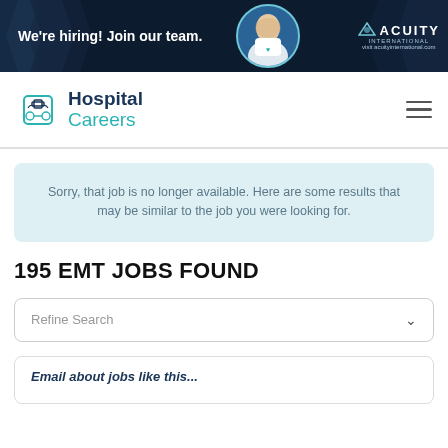[Figure (illustration): Dark navy banner advertisement for Acuity International with hexagonal pattern, female medical professional photo, and Acuity International logo with text 'We're hiring! Join our team.' and 'visit acuityinternational.com']
[Figure (logo): Hospital Careers logo with teal cross/medical icon and text 'Hospital Careers' in navy and teal]
Sorry, that job is no longer available. Here are some results that may be similar to the job you were looking for.
195 EMT JOBS FOUND
Refine Search
Email about jobs like this...